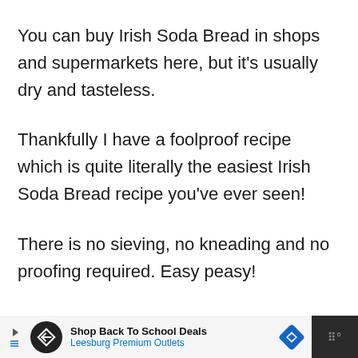You can buy Irish Soda Bread in shops and supermarkets here, but it's usually dry and tasteless.
Thankfully I have a foolproof recipe which is quite literally the easiest Irish Soda Bread recipe you've ever seen!
There is no sieving, no kneading and no proofing required. Easy peasy!
Shop Back To School Deals — Leesburg Premium Outlets